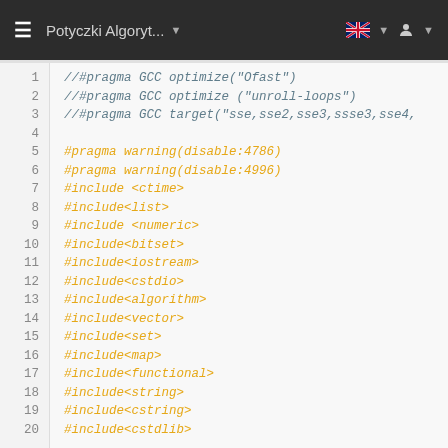Potyczki Algoryt...
[Figure (screenshot): Code editor showing C++ source file with line numbers 1-20, containing commented-out pragma GCC optimize and target directives, pragma warning disables, and a series of #include statements.]